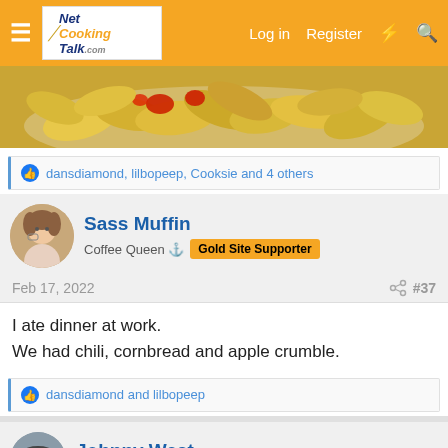Net Cooking Talk - Log in | Register
[Figure (photo): Close-up photo of golden fried potato chips/crisps with red ketchup or sauce on a white plate]
dansdiamond, lilbopeep, Cooksie and 4 others
Sass Muffin
Coffee Queen ⚓ Gold Site Supporter
Feb 17, 2022 #37
I ate dinner at work.
We had chili, cornbread and apple crumble.
dansdiamond and lilbopeep
Johnny West
Well-known member